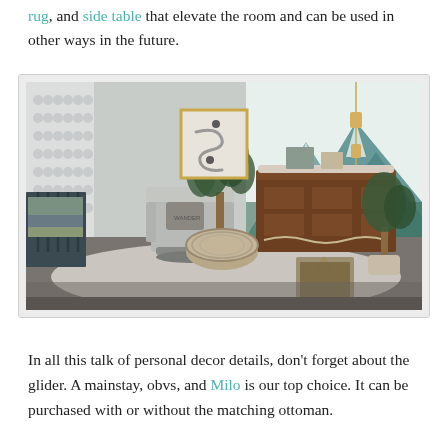rug, and side table that elevate the room and can be used in other ways in the future.
[Figure (photo): Nursery room photo showing a crib, glider chair, wooden dresser with changing topper, large plant, mountain mural on wall, patterned wallpaper, area rug, and various accessories.]
In all this talk of personal decor details, don't forget about the glider. A mainstay, obvs, and Milo is our top choice. It can be purchased with or without the matching ottoman.